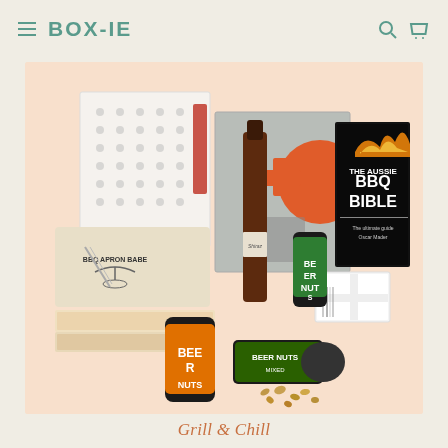BOX-IE
[Figure (photo): Grill & Chill gift box product photo showing various BBQ-related items including a wine bottle, cans of nuts with orange and green labels, a BBQ apron in canvas bag, decorative boxes with cross and circle patterns, a small white gift box, and 'The Aussie BBQ Bible' book, all arranged on a peachy-beige background.]
Grill & Chill